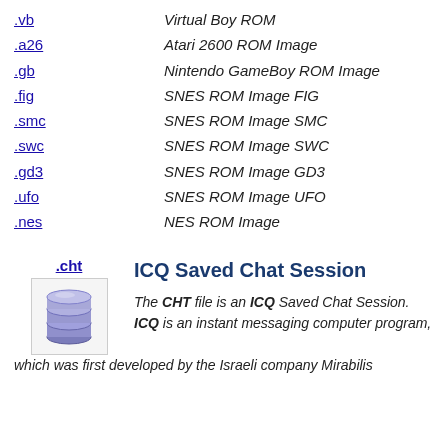.vb   Virtual Boy ROM
.a26   Atari 2600 ROM Image
.gb   Nintendo GameBoy ROM Image
.fig   SNES ROM Image FIG
.smc   SNES ROM Image SMC
.swc   SNES ROM Image SWC
.gd3   SNES ROM Image GD3
.ufo   SNES ROM Image UFO
.nes   NES ROM Image
ICQ Saved Chat Session
The CHT file is an ICQ Saved Chat Session. ICQ is an instant messaging computer program, which was first developed by the Israeli company Mirabilis